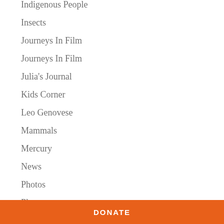Indigenous People
Insects
Journeys In Film
Journeys In Film
Julia's Journal
Kids Corner
Leo Genovese
Mammals
Mercury
News
Photos
Plants
DONATE